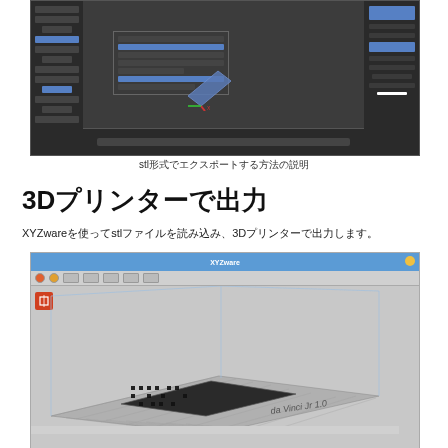[Figure (screenshot): Blender 3D software screenshot showing a 3D viewport with a tilted plane object and a context menu open on the left side, with properties panel on right]
stl形式でエクスポートする方法の説明
3Dプリンターで出力
XYZwareを使ってstlファイルを読み込み、3Dプリンターで出力します。
[Figure (screenshot): XYZware slicing software screenshot showing a 3D print bed with a QR code-like object model placed on it, labeled da Vinci Jr 1.0]